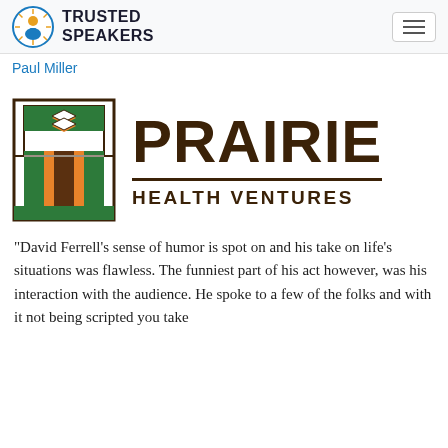TRUSTED SPEAKERS
Paul Miller
[Figure (logo): Prairie Health Ventures logo with stained-glass style wheat/diamond geometric emblem on the left and 'PRAIRIE HEALTH VENTURES' text on the right in dark brown]
"David Ferrell's sense of humor is spot on and his take on life's situations was flawless. The funniest part of his act however, was his interaction with the audience. He spoke to a few of the folks and with it not being scripted you take